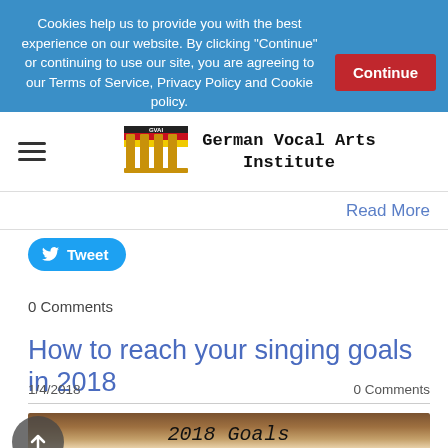Cookies help us to provide you with the best experience on our website. By clicking "Continue" or continuing to use our site, you are agreeing to our Terms of Service, Privacy Policy and Cookie policy. Learn more
Continue
[Figure (logo): German Vocal Arts Institute logo with columns and German flag colors]
Read More
Tweet
0 Comments
How to reach your singing goals in 2018
1/4/2018
0 Comments
[Figure (photo): Wooden desk surface with a white paper showing handwritten '2018 Goals' text]